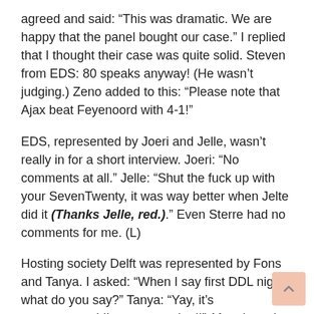agreed and said: “This was dramatic. We are happy that the panel bought our case.” I replied that I thought their case was quite solid. Steven from EDS: 80 speaks anyway! (He wasn’t judging.) Zeno added to this: “Please note that Ajax beat Feyenoord with 4-1!”
EDS, represented by Joeri and Jelle, wasn’t really in for a short interview. Joeri: “No comments at all.” Jelle: “Shut the fuck up with your SevenTwenty, it was way better when Jelte did it (Thanks Jelle, red.).” Even Sterre had no comments for me. (L)
Hosting society Delft was represented by Fons and Tanya. I asked: “When I say first DDL night, what do you say?” Tanya: “Yay, it’s awesomeeee! I’m super excited!” After that, she started laughing about the Febo stains in Roel’s shirt. Fons, as founder of TUDDC seemed very proud of his society, and rightly so!